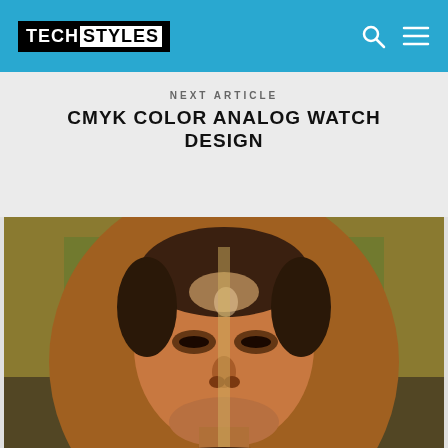TECH STYLES
NEXT ARTICLE
CMYK COLOR ANALOG WATCH DESIGN
[Figure (photo): Oval-cropped portrait photo of a middle-aged man with curly hair, set against a colorized background with warm amber and olive tones. The photo has a high-contrast, stylized look.]
SCOTT FITZGERALD